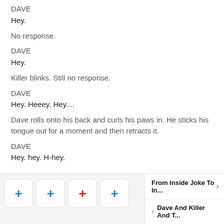DAVE
Hey.
No response.
DAVE
Hey.
Killer blinks. Still no response.
DAVE
Hey. Heeey. Hey....
Dave rolls onto his back and curls his paws in. He sticks his tongue out for a moment and then retracts it.
DAVE
Hey. hey. H-hey.
From Inside Joke To In... | Dave And Killer And T...